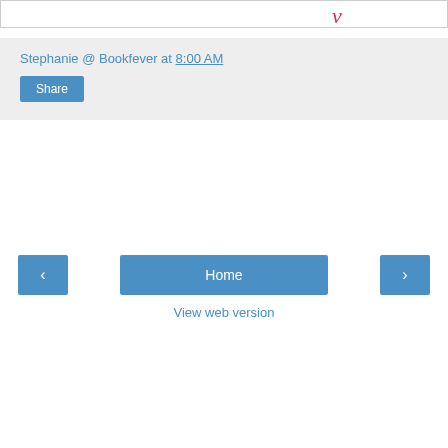[Figure (illustration): Partial top of a book or blog graphic with a red cursive letter visible at top]
Stephanie @ Bookfever at 8:00 AM
Share
‹
Home
›
View web version